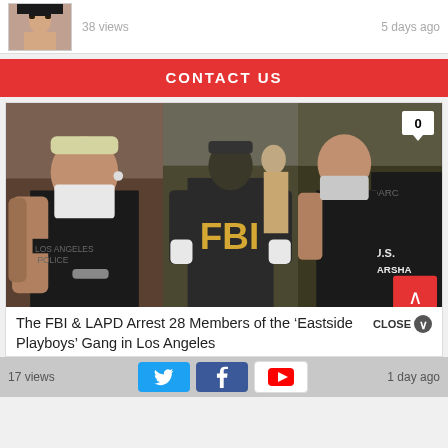[Figure (photo): Thumbnail photo of a woman's face (mugshot style), shown at top of page]
38 views
5 days ago
CONTACT US
[Figure (photo): Three-panel composite photo showing FBI and LAPD officers with gang members during an arrest operation. Left panel: tattooed man in black sleeveless shirt with white mask. Center panel: FBI agent in dark shirt facing away, another officer. Right panel: man being escorted by U.S. Marshal. Counter badge showing '0' visible in upper right.]
The FBI & LAPD Arrest 28 Members of the ‘Eastside Playboys’ Gang in Los Angeles
CLOSE
17 views
1 day ago